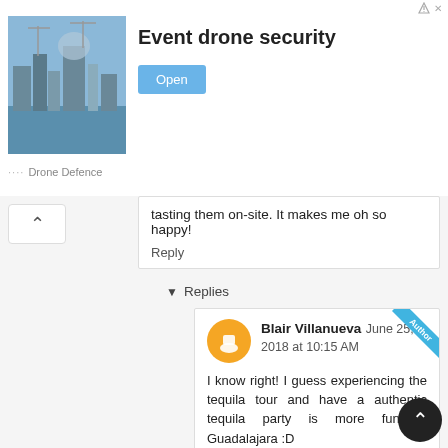[Figure (screenshot): Advertisement banner for 'Event drone security' by Drone Defence, with a cityscape/waterfront photo and an 'Open' button.]
tasting them on-site. It makes me oh so happy!
Reply
▾ Replies
Blair Villanueva June 25, 2018 at 10:15 AM
I know right! I guess experiencing the tequila tour and have a authentic tequila party is more fun in Guadalajara :D
Athena June 25, 2018 at 9:13 AM
Wow - so many amazing things and places to focus on. Totally incredible especially for a